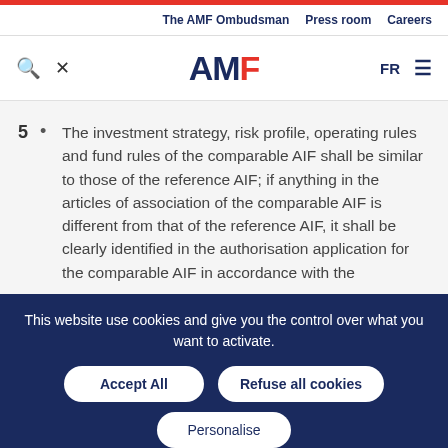The AMF Ombudsman | Press room | Careers
[Figure (logo): AMF logo with search and tool icons, FR language selector and hamburger menu]
The investment strategy, risk profile, operating rules and fund rules of the comparable AIF shall be similar to those of the reference AIF; if anything in the articles of association of the comparable AIF is different from that of the reference AIF, it shall be clearly identified in the authorisation application for the comparable AIF in accordance with the
This website use cookies and give you the control over what you want to activate.
Accept All | Refuse all cookies | Personalise